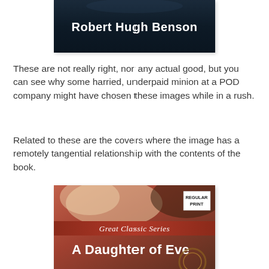[Figure (illustration): Book cover with dark background showing the author name 'Robert Hugh Benson' in bold white text]
These are not really right, nor any actual good, but you can see why some harried, underpaid minion at a POD company might have chosen these images while in a rush.
Related to these are the covers where the image has a remotely tangential relationship with the contents of the book.
[Figure (illustration): Book cover for 'A Daughter of Eve' from the Great Classic Series with Regular Print badge, showing a blurred reddish background with figures]